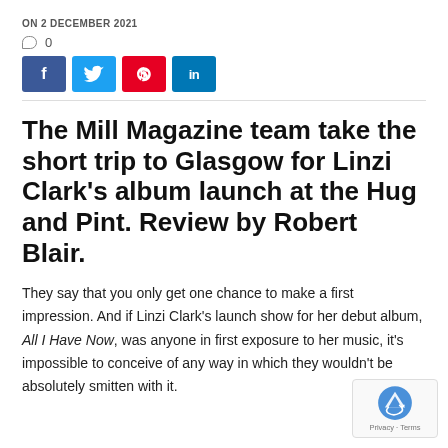ON 2 DECEMBER 2021
○ 0
[Figure (infographic): Social media share buttons: Facebook (blue), Twitter (light blue), Pinterest (red), LinkedIn (dark blue)]
The Mill Magazine team take the short trip to Glasgow for Linzi Clark's album launch at the Hug and Pint. Review by Robert Blair.
They say that you only get one chance to make a first impression. And if Linzi Clark's launch show for her debut album, All I Have Now, was anyone in first exposure to her music, it's impossible to conceive of any way in which they wouldn't be absolutely smitten with it.